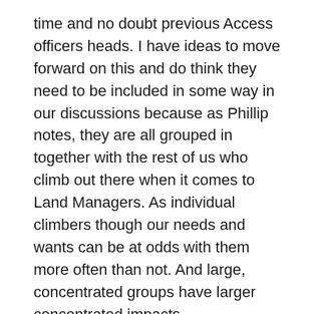time and no doubt previous Access officers heads. I have ideas to move forward on this and do think they need to be included in some way in our discussions because as Phillip notes, they are all grouped in together with the rest of us who climb out there when it comes to Land Managers. As individual climbers though our needs and wants can be at odds with them more often than not. And large, concentrated groups have larger concentrated impacts.
Much of this report consists of the comments I have included on Chockstone.  But I would like to get feedback from as many elements of the climbing community as possible. Your